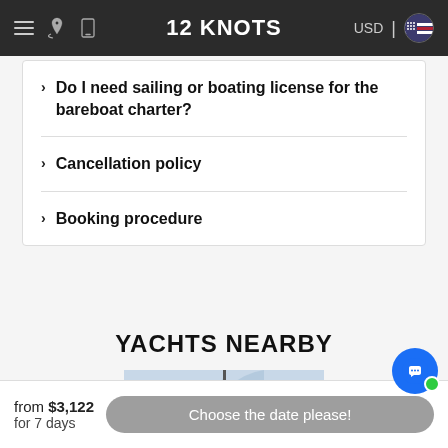12 KNOTS | USD
Do I need sailing or boating license for the bareboat charter?
Cancellation policy
Booking procedure
YACHTS NEARBY
[Figure (photo): Partial view of a yacht sail and mast against a light blue sky]
from $3,122 for 7 days
Choose the date please!